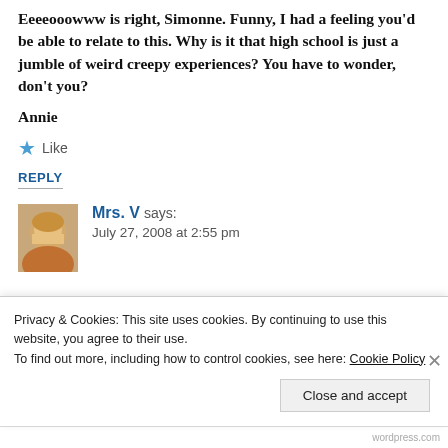Eeeeooowww is right, Simonne. Funny, I had a feeling you'd be able to relate to this. Why is it that high school is just a jumble of weird creepy experiences? You have to wonder, don't you?
Annie
Like
REPLY
Mrs. V says:
July 27, 2008 at 2:55 pm
Privacy & Cookies: This site uses cookies. By continuing to use this website, you agree to their use. To find out more, including how to control cookies, see here: Cookie Policy
Close and accept